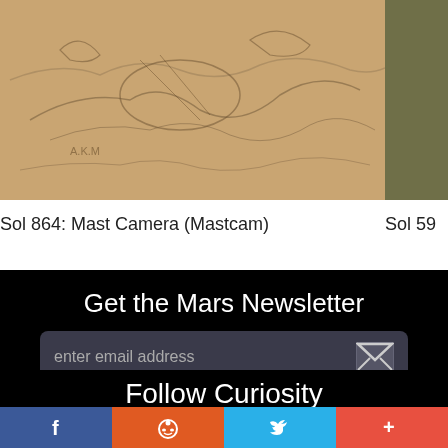[Figure (photo): Sketch-like Mars terrain photo from Mast Camera, sandy/tan colored]
Sol 864: Mast Camera (Mastcam)
[Figure (photo): Partial Mars surface photo, dark olive/green color, cropped on right edge]
Sol 59
Get the Mars Newsletter
enter email address
Follow Curiosity
Facebook | Reddit | Twitter | More